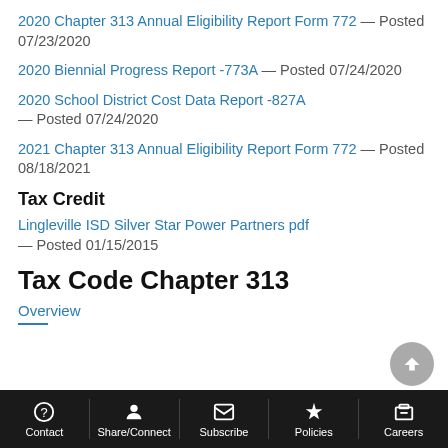2020 Chapter 313 Annual Eligibility Report Form 772 — Posted 07/23/2020
2020 Biennial Progress Report -773A — Posted 07/24/2020
2020 School District Cost Data Report -827A — Posted 07/24/2020
2021 Chapter 313 Annual Eligibility Report Form 772 — Posted 08/18/2021
Tax Credit
Lingleville ISD Silver Star Power Partners pdf — Posted 01/15/2015
Tax Code Chapter 313
Overview
Contact | Share/Connect | Subscribe | Policies | Careers